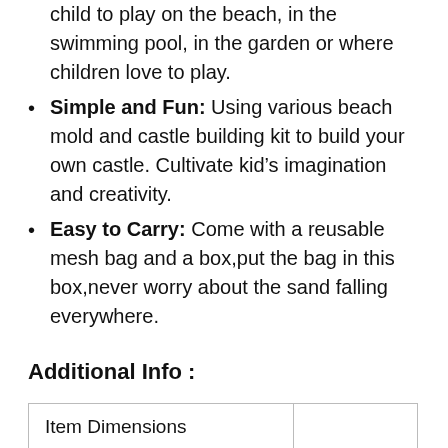child to play on the beach, in the swimming pool, in the garden or where children love to play.
Simple and Fun: Using various beach mold and castle building kit to build your own castle. Cultivate kid’s imagination and creativity.
Easy to Carry: Come with a reusable mesh bag and a box,put the bag in this box,never worry about the sand falling everywhere.
Additional Info :
|  |  |
| --- | --- |
| Item Dimensions |  |
| Height | 7.3 |